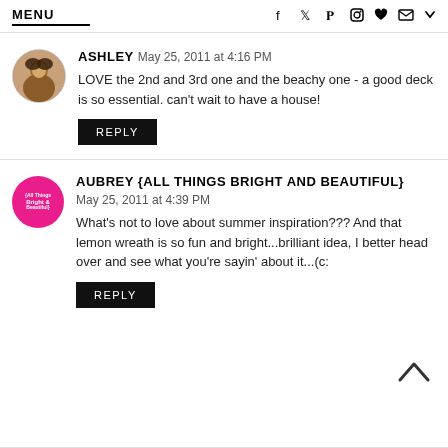MENU  f  twitter  pinterest  instagram  heart  mail
ASHLEY May 25, 2011 at 4:16 PM — LOVE the 2nd and 3rd one and the beachy one - a good deck is so essential. can't wait to have a house! REPLY
AUBREY {ALL THINGS BRIGHT AND BEAUTIFUL} May 25, 2011 at 4:39 PM — What's not to love about summer inspiration??? And that lemon wreath is so fun and bright...brilliant idea, I better head over and see what you're sayin' about it...(c: REPLY